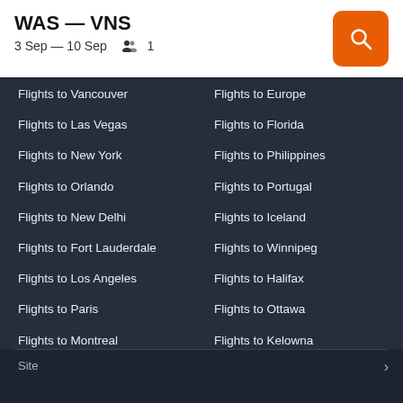WAS — VNS
3 Sep — 10 Sep   1
Flights to Vancouver
Flights to Europe
Flights to Las Vegas
Flights to Florida
Flights to New York
Flights to Philippines
Flights to Orlando
Flights to Portugal
Flights to New Delhi
Flights to Iceland
Flights to Fort Lauderdale
Flights to Winnipeg
Flights to Los Angeles
Flights to Halifax
Flights to Paris
Flights to Ottawa
Flights to Montreal
Flights to Kelowna
Flights to Manila
Flights to St. John's
Flights to Cancun
Flights to Saskatoon
Flights to Calgary
Site